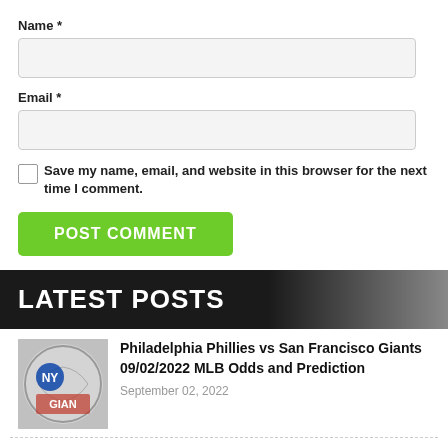Name *
Email *
Save my name, email, and website in this browser for the next time I comment.
POST COMMENT
LATEST POSTS
Philadelphia Phillies vs San Francisco Giants 09/02/2022 MLB Odds and Prediction
September 02, 2022
Los Angeles Dodgers vs New York Mets